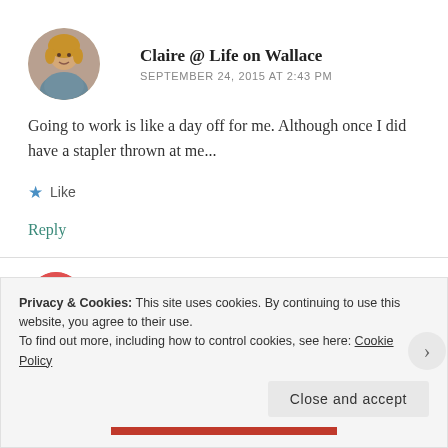Claire @ Life on Wallace
SEPTEMBER 24, 2015 AT 2:43 PM
Going to work is like a day off for me. Although once I did have a stapler thrown at me...
Like
Reply
Privacy & Cookies: This site uses cookies. By continuing to use this website, you agree to their use.
To find out more, including how to control cookies, see here: Cookie Policy
Close and accept